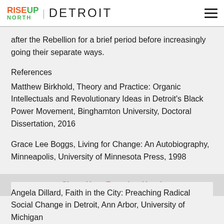RISEUP NORTH | DETROIT
after the Rebellion for a brief period before increasingly going their separate ways.
References
Matthew Birkhold, Theory and Practice: Organic Intellectuals and Revolutionary Ideas in Detroit's Black Power Movement, Binghamton University, Doctoral Dissertation, 2016
Grace Lee Boggs, Living for Change: An Autobiography, Minneapolis, University of Minnesota Press, 1998
Share Your Reaction Here!
Angela Dillard, Faith in the City: Preaching Radical Social Change in Detroit, Ann Arbor, University of Michigan